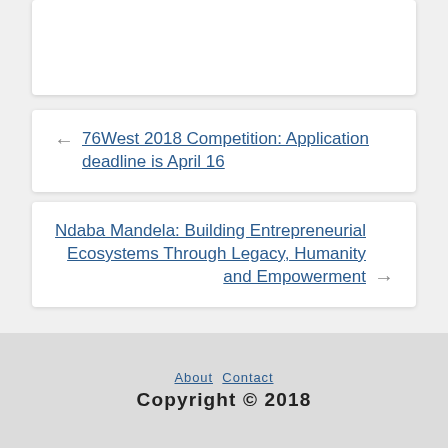76West 2018 Competition: Application deadline is April 16
Ndaba Mandela: Building Entrepreneurial Ecosystems Through Legacy, Humanity and Empowerment
About  Contact
Copyright © 2018